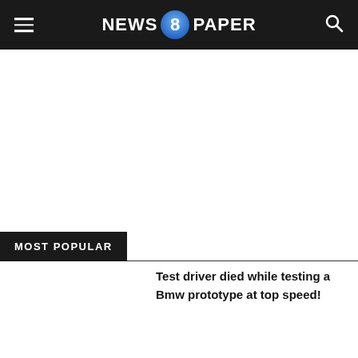NEWS 8 PAPER
MOST POPULAR
Test driver died while testing a Bmw prototype at top speed!